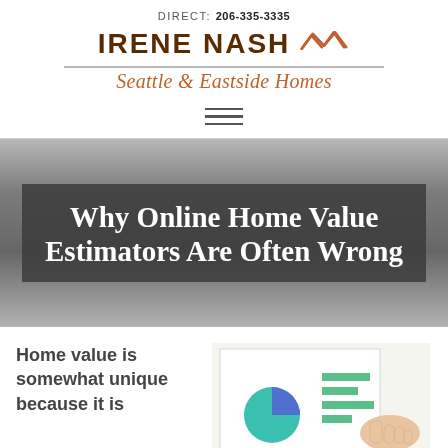DIRECT: 206-335-3335
IRENE NASH Seattle & Eastside Homes
[Figure (logo): Irene Nash brand logo with house icon and tagline Seattle & Eastside Homes]
Why Online Home Value Estimators Are Often Wrong
Home value is somewhat unique because it is
[Figure (photo): Hand pointing at a pie chart on a printed report, with bar charts visible in background]